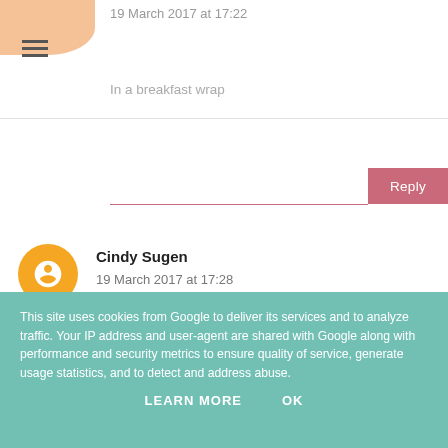19 March 2017 at 17:22
In a breakfast wrap
Reply
Cindy Sugen
19 March 2017 at 17:28
Spam sarnie with brown sauce
Reply
This site uses cookies from Google to deliver its services and to analyze traffic. Your IP address and user-agent are shared with Google along with performance and security metrics to ensure quality of service, generate usage statistics, and to detect and address abuse.
LEARN MORE
OK